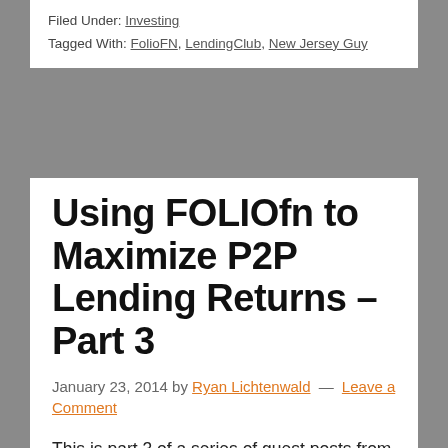Filed Under: Investing
Tagged With: FolioFN, LendingClub, New Jersey Guy
Using FOLIOfn to Maximize P2P Lending Returns – Part 3
January 23, 2014 by Ryan Lichtenwald — Leave a Comment
This is part 3 of a series of guest posts from New Jersey Guy who is an active member on the LendAcademy Forum.  He is located in New Jersey as his name suggests so he is not currently able to invest in notes directly through Lending Club.  However, he has decided to share his secrets on investing in FolioFN - the secondary market for Lending Club.  There will be 4